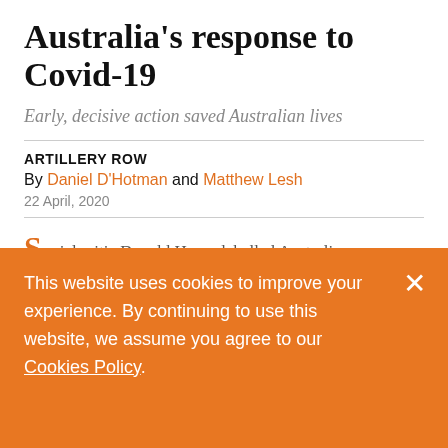Australia's response to Covid-19
Early, decisive action saved Australian lives
ARTILLERY ROW
By Daniel D'Hotman and Matthew Lesh
22 April, 2020
ocial critic Donald Horne labelled Australia
This website uses cookies to improve your experience. By continuing to use this website, we assume you agree to our Cookies Policy.